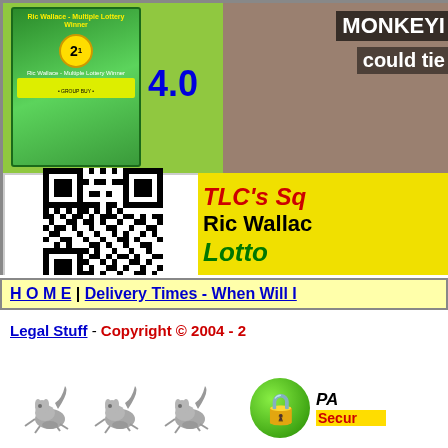[Figure (illustration): Advertisement banner showing a book cover with lottery book, QR code, and text about TLC's Sq..., Ric Wallac..., Lotto, with monkey image and text 'MONKEYI... could tie']
H O M E | Delivery Times - When Will I...
Legal Stuff - Copyright © 2004 - 2...
[Figure (illustration): Three squirrel icons and a green padlock security badge with text PA... Secur...]